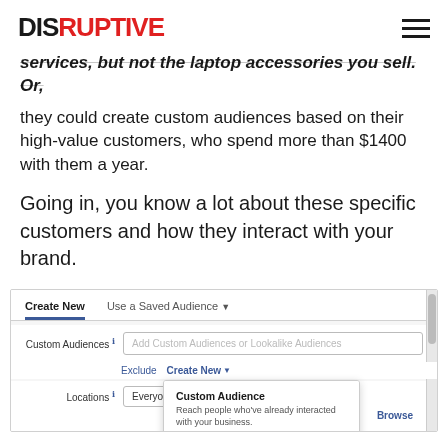DISRUPTIVE
services, but not the laptop accessories you sell. Or, they could create custom audiences based on their high-value customers, who spend more than $1400 with them a year.
Going in, you know a lot about these specific customers and how they interact with your brand.
[Figure (screenshot): Facebook Ads Manager screenshot showing Custom Audiences and Lookalike Audience creation interface with a dropdown menu open showing 'Custom Audience' and 'Lookalike Audience' options.]